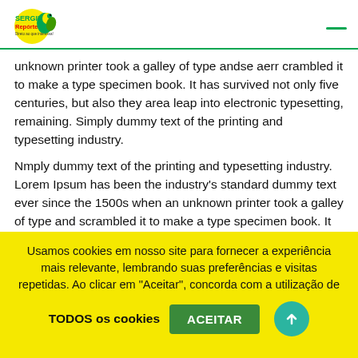Sergipe Repórter
unknown printer took a galley of type andse aerr crambled it to make a type specimen book. It has survived not only five centuries, but also they area leap into electronic typesetting, remaining. Simply dummy text of the printing and typesetting industry.
Nmply dummy text of the printing and typesetting industry. Lorem Ipsum has been the industry's standard dummy text ever since the 1500s when an unknown printer took a galley of type and scrambled it to make a type specimen book. It has survived not
Usamos cookies em nosso site para fornecer a experiência mais relevante, lembrando suas preferências e visitas repetidas. Ao clicar em "Aceitar", concorda com a utilização de TODOS os cookies
ACEITAR